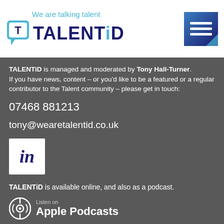[Figure (logo): TALENTiD logo with chat bubble icon and tagline 'We are talking talent', plus a blue menu icon in top right]
TALENTiD is managed and moderated by Tony Hall-Turner. If you have news, content – or you'd like to be a featured or a regular contributor to the Talent community – please get in touch:
07468 881213
tony@wearetalentid.co.uk
[Figure (logo): LinkedIn logo icon (white 'in' on white square)]
TALENTiD is available online, and also as a podcast.
Listen on Apple Podcasts